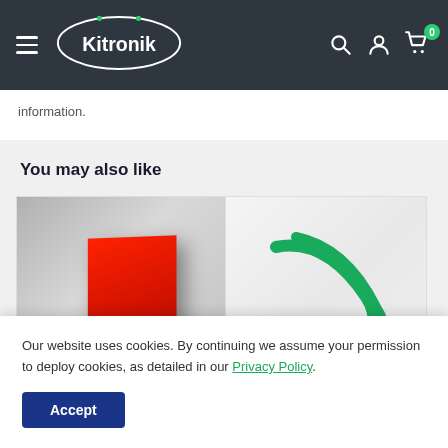Kitronik navigation bar with logo, search, account, and cart icons
information.
You may also like
[Figure (photo): Product card showing a red acrylic sheet standing upright against a grey background]
[Figure (photo): Product card showing green cables/wires against a white background]
Our website uses cookies. By continuing we assume your permission to deploy cookies, as detailed in our Privacy Policy.